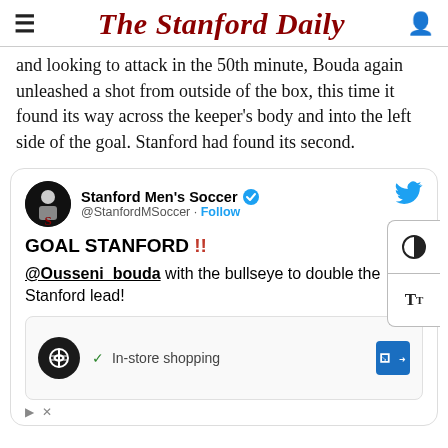The Stanford Daily
and looking to attack in the 50th minute, Bouda again unleashed a shot from outside of the box, this time it found its way across the keeper's body and into the left side of the goal. Stanford had found its second.
[Figure (screenshot): Embedded tweet from @StanfordMSoccer with verified badge. Tweet text: GOAL STANFORD !! @Ousseni_bouda with the bullseye to double the Stanford lead! Includes a partial ad preview showing In-store shopping.]